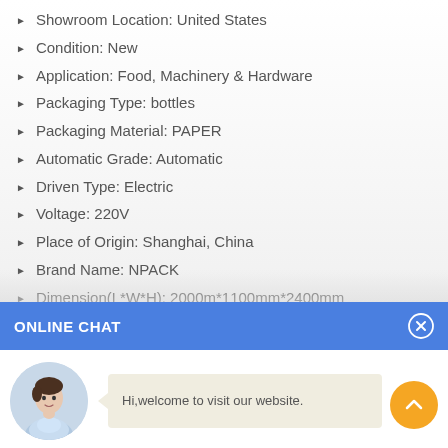Showroom Location: United States
Condition: New
Application: Food, Machinery & Hardware
Packaging Type: bottles
Packaging Material: PAPER
Automatic Grade: Automatic
Driven Type: Electric
Voltage: 220V
Place of Origin: Shanghai, China
Brand Name: NPACK
Dimension(L*W*H): 2000m*1100mm*2400mm
Weight: 800KG
Certification: CE/ISO9001
ONLINE CHAT
Hi,welcome to visit our website.
Cilina